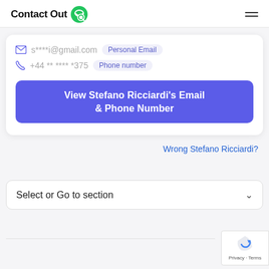Contact Out
s****i@gmail.com  Personal Email
+44 ** **** *375  Phone number
View Stefano Ricciardi's Email & Phone Number
Wrong Stefano Ricciardi?
Select or Go to section